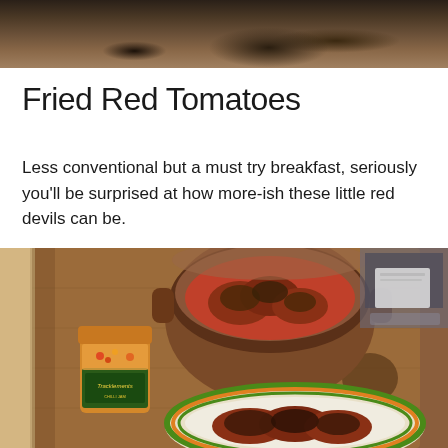[Figure (photo): Top portion of a photo showing dark granola or crumble mixture scattered on a wooden surface, dark/moody food photography style]
Fried Red Tomatoes
Less conventional but a must try breakfast, seriously you'll be surprised at how more-ish these little red devils can be.
[Figure (photo): A ceramic bowl containing fried red tomatoes in sauce, placed on a wooden chopping board. In front is a decorative plate with fried tomato slices, and to the left is a jar of Tracklements chilli jam. Kitchen setting with natural light.]